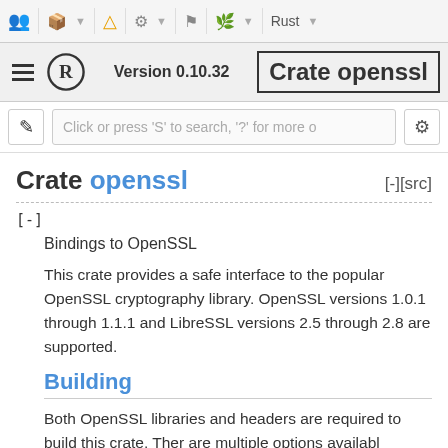Toolbar with icons and Rust dropdown
Version 0.10.32  |  Crate openssl
Click or press 'S' to search, '?' for more o
Crate openssl
[-][src]
[-]
Bindings to OpenSSL
This crate provides a safe interface to the popular OpenSSL cryptography library. OpenSSL versions 1.0.1 through 1.1.1 and LibreSSL versions 2.5 through 2.8 are supported.
Building
Both OpenSSL libraries and headers are required to build this crate. Ther are multiple options availabl